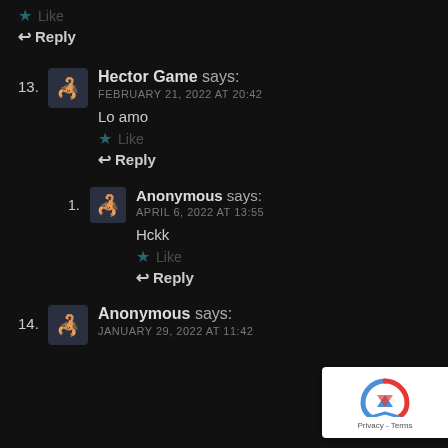★ Like
↩ Reply
13. Hector Game says: FEBRUARY 21, 2022 AT 20:42
Lo amo
★ Like
↩ Reply
1. Anonymous says: APRIL 6, 2022 AT 13:55
Hckk
★ Like
↩ Reply
14. Anonymous says: JANUARY 29, 2022 AT 11:42